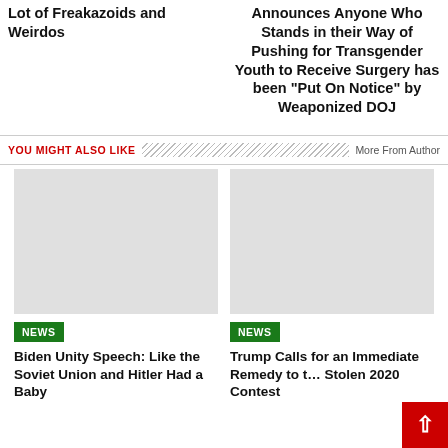Lot of Freakazoids and Weirdos
Announces Anyone Who Stands in their Way of Pushing for Transgender Youth to Receive Surgery has been “Put On Notice” by Weaponized DOJ
YOU MIGHT ALSO LIKE
More From Author
NEWS
Biden Unity Speech: Like the Soviet Union and Hitler Had a Baby
NEWS
Trump Calls for an Immediate Remedy to the Stolen 2020 Contest